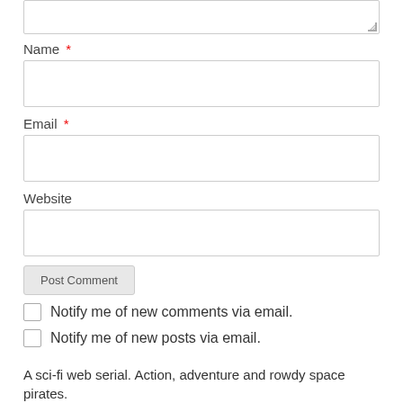Name *
[Figure (other): Name text input field (empty)]
Email *
[Figure (other): Email text input field (empty)]
Website
[Figure (other): Website text input field (empty)]
Post Comment (button)
Notify me of new comments via email.
Notify me of new posts via email.
A sci-fi web serial. Action, adventure and rowdy space pirates.